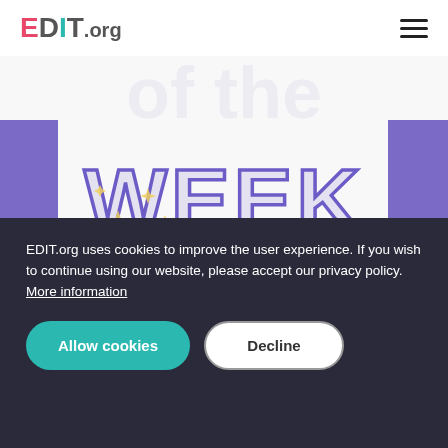EDIT.org
[Figure (illustration): Star of the Week poster template preview showing decorative text 'of the WEEK' in large purple outlined letters with sparkle/diamond decorations, and fields for STUDENT NAME and MY BIRTHDAY IS ON: below, with purple side panels]
Free Star of the Week poster templates
Create a free Star of the Week template for your school at EDIT.org. Custom...
EDIT.org uses cookies to improve the user experience. If you wish to continue using our website, please accept our privacy policy. More information
Allow cookies   Decline